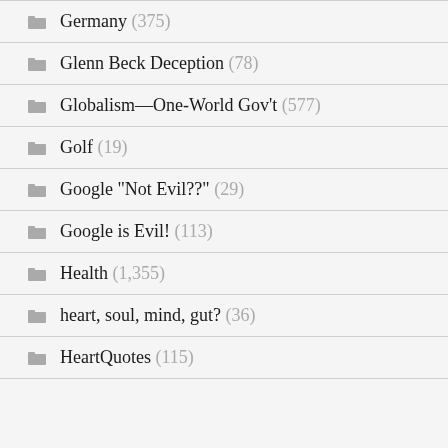Germany (375)
Glenn Beck Deception (78)
Globalism—One-World Gov't (577)
Golf (19)
Google "Not Evil??" (29)
Google is Evil! (113)
Health (1,355)
heart, soul, mind, gut? (36)
HeartQuotes (115)